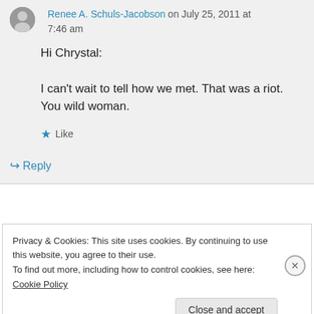Renee A. Schuls-Jacobson on July 25, 2011 at 7:46 am
Hi Chrystal:
I can't wait to tell how we met. That was a riot. You wild woman.
Like
Reply
Privacy & Cookies: This site uses cookies. By continuing to use this website, you agree to their use. To find out more, including how to control cookies, see here: Cookie Policy
Close and accept